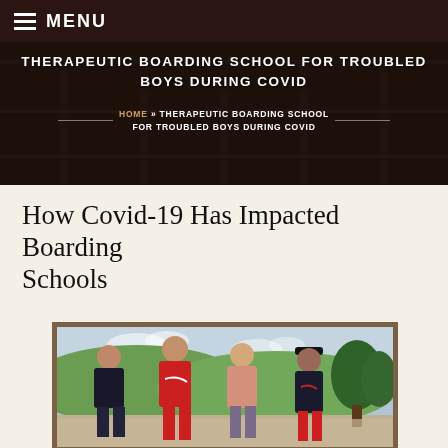MENU
THERAPEUTIC BOARDING SCHOOL FOR TROUBLED BOYS DURING COVID
HOME » THERAPEUTIC BOARDING SCHOOL FOR TROUBLED BOYS DURING COVID
How Covid-19 Has Impacted Boarding Schools
[Figure (photo): Four teenage boys standing outdoors in front of a green hilly landscape. Left to right: boy in black hoodie, tall boy in red Nike t-shirt, boy in salmon/peach shirt, boy in dark jacket and black cap. Gravel path visible at bottom.]